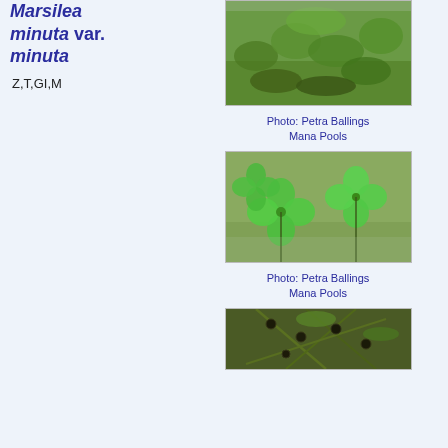Marsilea minuta var. minuta
Z,T,GI,M
[Figure (photo): Photo of Marsilea minuta var. minuta plant with green four-leaf clover-like foliage growing densely, taken at Mana Pools]
Photo: Petra Ballings
Mana Pools
[Figure (photo): Close-up photo of Marsilea minuta var. minuta showing large green four-leaf clover leaves floating or near water, taken at Mana Pools]
Photo: Petra Ballings
Mana Pools
[Figure (photo): Close-up photo of Marsilea minuta var. minuta showing stems with small round sporocarps/seeds]